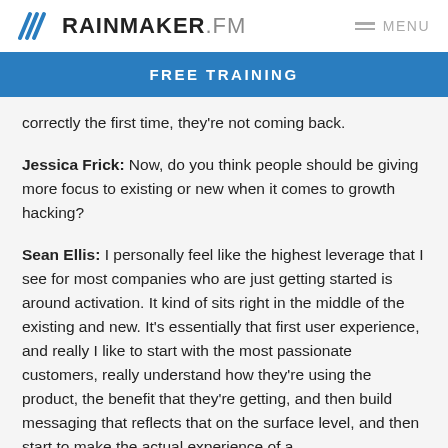RAINMAKER.FM   MENU
FREE TRAINING
correctly the first time, they’re not coming back.
Jessica Frick: Now, do you think people should be giving more focus to existing or new when it comes to growth hacking?
Sean Ellis: I personally feel like the highest leverage that I see for most companies who are just getting started is around activation. It kind of sits right in the middle of the existing and new. It’s essentially that first user experience, and really I like to start with the most passionate customers, really understand how they’re using the product, the benefit that they’re getting, and then build messaging that reflects that on the surface level, and then start to make the actual experience of a